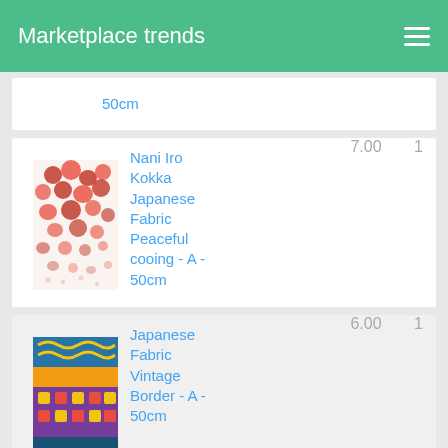Marketplace trends
50cm
[Figure (photo): Japanese fabric with red floral pattern on white background]
Nani Iro Kokka Japanese Fabric Peaceful cooing - A - 50cm
7.00
1
[Figure (photo): Japanese fabric with colorful vintage border pattern in blue, yellow and purple]
Japanese Fabric Vintage Border - A - 50cm
6.00
1
Nani Iro Kokka